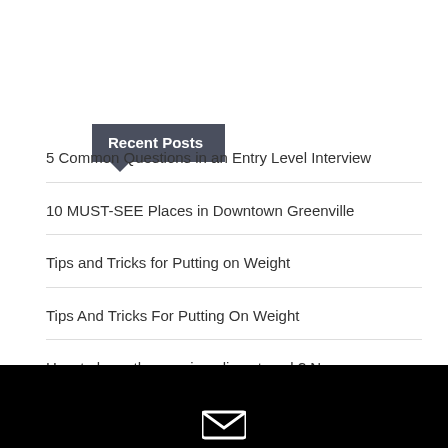Recent Posts
5 Common Questions in an Entry Level Interview
10 MUST-SEE Places in Downtown Greenville
Tips and Tricks for Putting on Weight
Tips And Tricks For Putting On Weight
How to keep the passion alive at work? No more burning out!